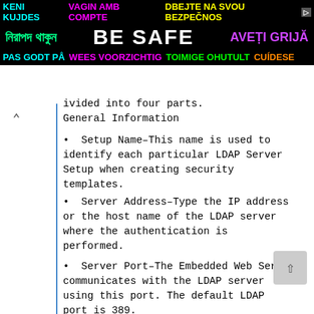[Figure (screenshot): Advertisement banner with multilingual 'Be Safe' message on black background. Line 1: 'KENI KUJDES' (cyan), 'VAGIN AMB COMPTE' (magenta), 'DBEJTE NA SVOU BEZPECNOS' (yellow). Line 2: Bengali text (green), 'BE SAFE' (white large), 'AVETI GRIJA' (purple). Line 3: 'PAS GODT PA' (cyan), 'WEES VOORZICHTIG' (magenta), 'TOIMIGE OHUTULT' (green), 'CUIDESE' (orange).]
ivided into four parts.
General Information
• Setup Name–This name is used to identify each particular LDAP Server Setup when creating security templates.
• Server Address–Type the IP address or the host name of the LDAP server where the authentication is performed.
• Server Port–The Embedded Web Server communicates with the LDAP server using this port. The default LDAP port is 389.
• Use SSL/TLS–From the drop-down menu, select None, SSL/TLS (Secure Sockets...